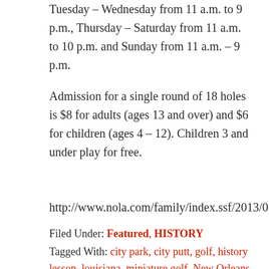Tuesday – Wednesday from 11 a.m. to 9 p.m., Thursday – Saturday from 11 a.m. to 10 p.m. and Sunday from 11 a.m. – 9 p.m.
Admission for a single round of 18 holes is $8 for adults (ages 13 and over) and $6 for children (ages 4 – 12). Children 3 and under play for free.
http://www.nola.com/family/index.ssf/2013/05/n
Filed Under: Featured, HISTORY
Tagged With: city park, city putt, golf, history lesson, louisiana, miniature golf, New Orleans